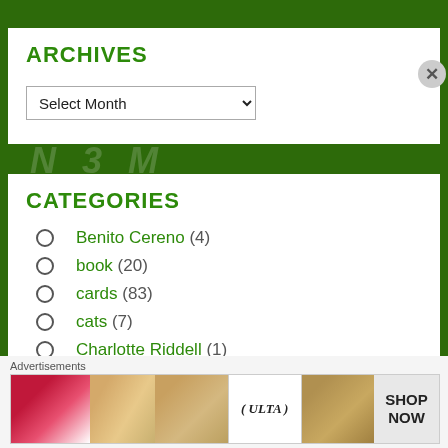ARCHIVES
Select Month
CATEGORIES
Benito Cereno (4)
book (20)
cards (83)
cats (7)
Charlotte Riddell (1)
[Figure (infographic): Ulta beauty advertisement banner with makeup imagery and SHOP NOW text]